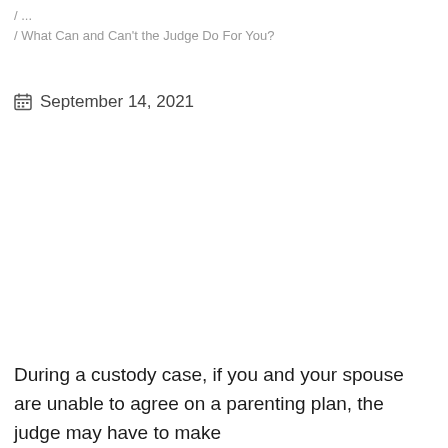/ ... / What Can and Can't the Judge Do For You?
September 14, 2021
During a custody case, if you and your spouse are unable to agree on a parenting plan, the judge may have to make